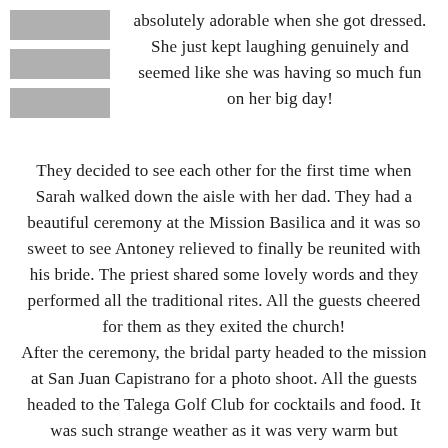[Figure (other): Gray icon with three horizontal bars (menu/list icon), positioned top-left]
absolutely adorable when she got dressed. She just kept laughing genuinely and seemed like she was having so much fun on her big day!
They decided to see each other for the first time when Sarah walked down the aisle with her dad. They had a beautiful ceremony at the Mission Basilica and it was so sweet to see Antoney relieved to finally be reunited with his bride. The priest shared some lovely words and they performed all the traditional rites. All the guests cheered for them as they exited the church!
After the ceremony, the bridal party headed to the mission at San Juan Capistrano for a photo shoot. All the guests headed to the Talega Golf Club for cocktails and food. It was such strange weather as it was very warm but eventually started raining a bit on the guests! They all moved into the reception and enjoyed a beautiful dinner. The toasts were so great,